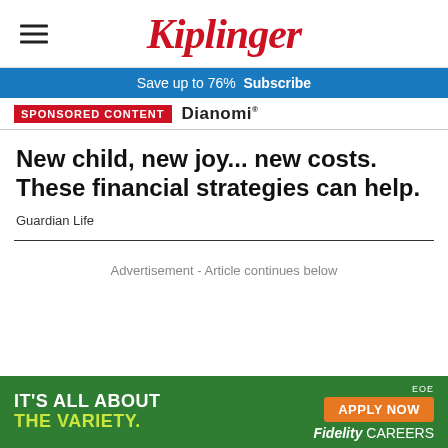Kiplinger
Save up to 76%  Subscribe
SPONSORED CONTENT  Dianomi
New child, new joy... new costs. These financial strategies can help.
Guardian Life
Advertisement - Article continues below
[Figure (infographic): Fidelity Careers banner ad: green background with text IT'S ALL ABOUT THE VARIETY. and orange APPLY NOW button, Fidelity CAREERS logo on right, EOE label top right.]